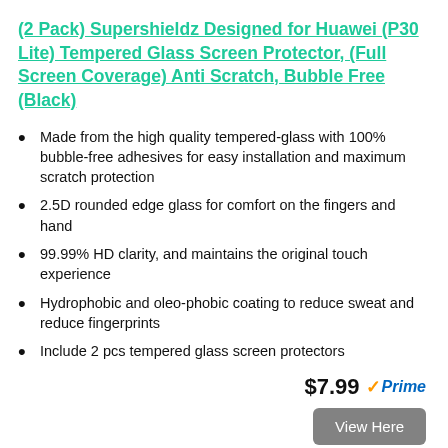(2 Pack) Supershieldz Designed for Huawei (P30 Lite) Tempered Glass Screen Protector, (Full Screen Coverage) Anti Scratch, Bubble Free (Black)
Made from the high quality tempered-glass with 100% bubble-free adhesives for easy installation and maximum scratch protection
2.5D rounded edge glass for comfort on the fingers and hand
99.99% HD clarity, and maintains the original touch experience
Hydrophobic and oleo-phobic coating to reduce sweat and reduce fingerprints
Include 2 pcs tempered glass screen protectors
$7.99 Prime
View Here